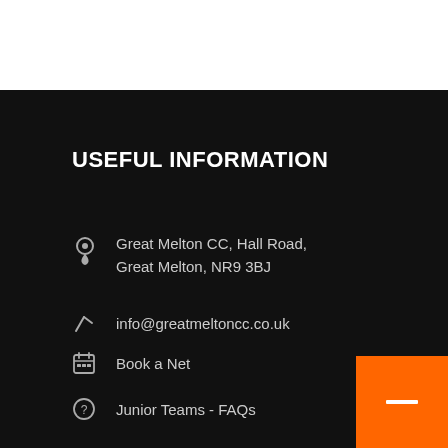USEFUL INFORMATION
Great Melton CC, Hall Road, Great Melton, NR9 3BJ
info@greatmeltoncc.co.uk
Book a Net
Junior Teams - FAQs